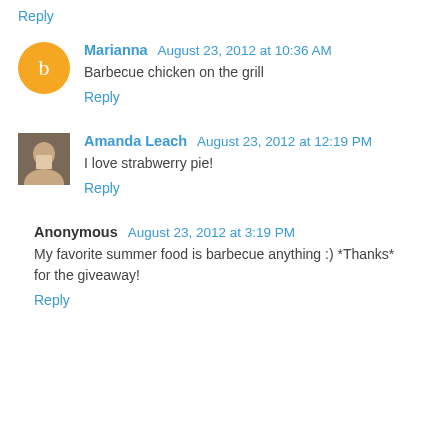Reply
Marianna  August 23, 2012 at 10:36 AM
Barbecue chicken on the grill
Reply
Amanda Leach  August 23, 2012 at 12:19 PM
I love strabwerry pie!
Reply
Anonymous  August 23, 2012 at 3:19 PM
My favorite summer food is barbecue anything :) *Thanks* for the giveaway!
Reply